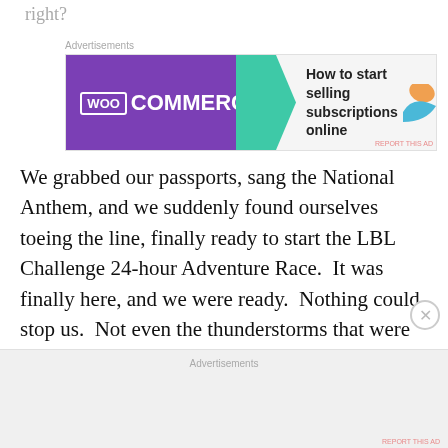right?
[Figure (other): WooCommerce advertisement banner: purple left section with WooCommerce logo and green arrow, right section with text 'How to start selling subscriptions online' and orange/teal decorations]
We grabbed our passports, sang the National Anthem, and we suddenly found ourselves toeing the line, finally ready to start the LBL Challenge 24-hour Adventure Race.  It was finally here, and we were ready.  Nothing could stop us.  Not even the thunderstorms that were all but guaranteed to ravage the Land Between the Lakes over the next 24 hours.  Not even the stiff competition in our division.  Not even cramps…
Advertisements
Advertisements